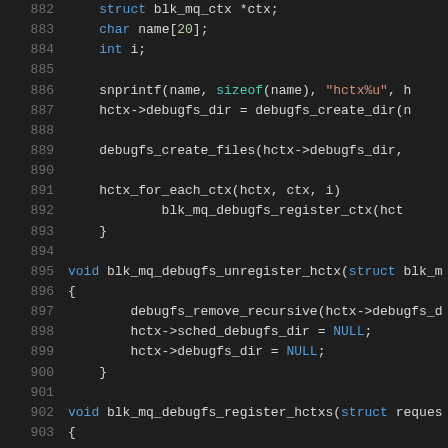[Figure (screenshot): Source code listing showing C code for blk_mq_debugfs functions, lines 882-903, with syntax highlighting on dark background.]